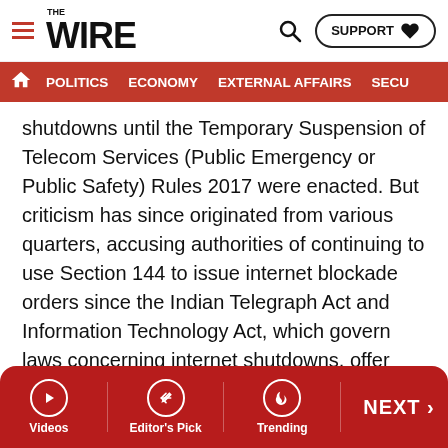THE WIRE — navigation header with search and support button
POLITICS | ECONOMY | EXTERNAL AFFAIRS | SECU...
shutdowns until the Temporary Suspension of Telecom Services (Public Emergency or Public Safety) Rules 2017 were enacted. But criticism has since originated from various quarters, accusing authorities of continuing to use Section 144 to issue internet blockade orders since the Indian Telegraph Act and Information Technology Act, which govern laws concerning internet shutdowns, offer some degree of checks and balances. The report thus observes that “these unchecked executive powers are a means of bypassing the more stringent legal mechanisms for internet blocking laid down under Section 69 A of the Information Technology Act, 2000 and the Indian Telegraph
Videos | Editor's Pick | Trending | NEXT >